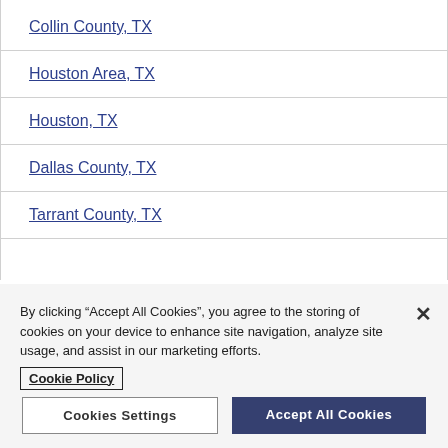Collin County, TX
Houston Area, TX
Houston, TX
Dallas County, TX
Tarrant County, TX
By clicking “Accept All Cookies”, you agree to the storing of cookies on your device to enhance site navigation, analyze site usage, and assist in our marketing efforts.
Cookie Policy
Cookies Settings
Accept All Cookies